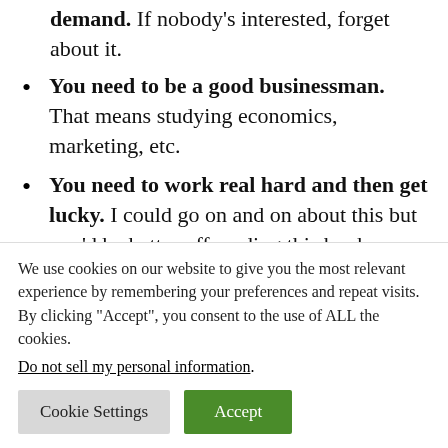demand. If nobody's interested, forget about it.
You need to be a good businessman. That means studying economics, marketing, etc.
You need to work real hard and then get lucky. I could go on and on about this but you'd be better off reading this book: Outliers: The Story of Success It'll
We use cookies on our website to give you the most relevant experience by remembering your preferences and repeat visits. By clicking “Accept”, you consent to the use of ALL the cookies.
Do not sell my personal information.
Cookie Settings   Accept